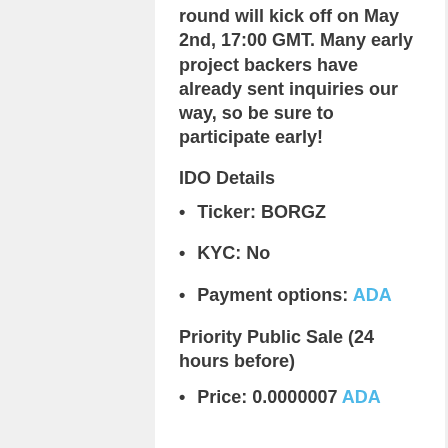round will kick off on May 2nd, 17:00 GMT. Many early project backers have already sent inquiries our way, so be sure to participate early!
IDO Details
Ticker: BORGZ
KYC: No
Payment options: ADA
Priority Public Sale (24 hours before)
Price: 0.0000007 ADA